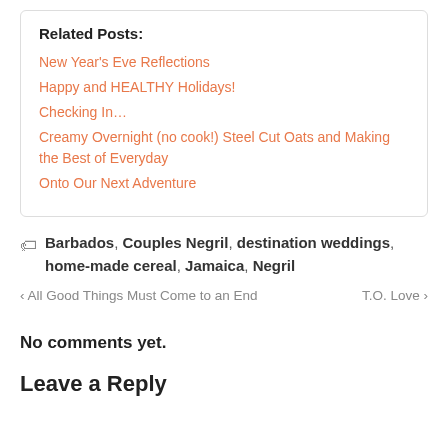Related Posts:
New Year's Eve Reflections
Happy and HEALTHY Holidays!
Checking In…
Creamy Overnight (no cook!) Steel Cut Oats and Making the Best of Everyday
Onto Our Next Adventure
Barbados, Couples Negril, destination weddings, home-made cereal, Jamaica, Negril
← All Good Things Must Come to an End    T.O. Love →
No comments yet.
Leave a Reply